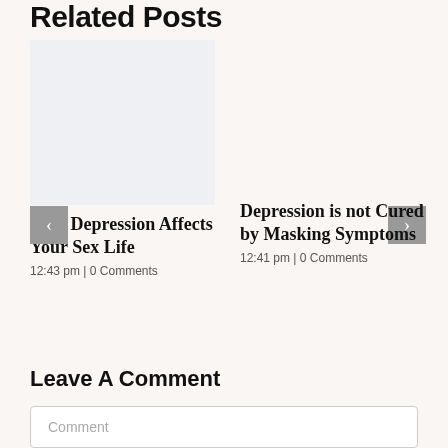Related Posts
[Figure (photo): Placeholder image for related post]
How Depression Affects Your Sex Life
12:43 pm | 0 Comments
Depression is not Cured by Masking Symptoms
12:41 pm | 0 Comments
Leave A Comment
Comment